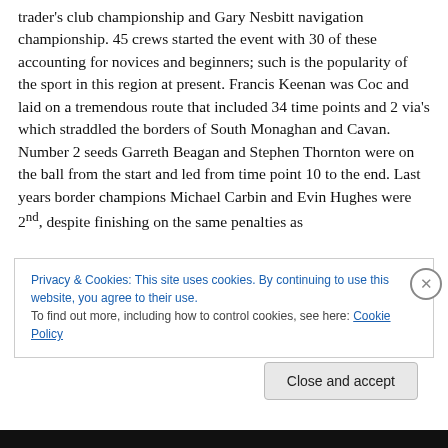trader's club championship and Gary Nesbitt navigation championship. 45 crews started the event with 30 of these accounting for novices and beginners; such is the popularity of the sport in this region at present. Francis Keenan was Coc and laid on a tremendous route that included 34 time points and 2 via's which straddled the borders of South Monaghan and Cavan. Number 2 seeds Garreth Beagan and Stephen Thornton were on the ball from the start and led from time point 10 to the end. Last years border champions Michael Carbin and Evin Hughes were 2nd, despite finishing on the same penalties as
Privacy & Cookies: This site uses cookies. By continuing to use this website, you agree to their use.
To find out more, including how to control cookies, see here: Cookie Policy
Close and accept